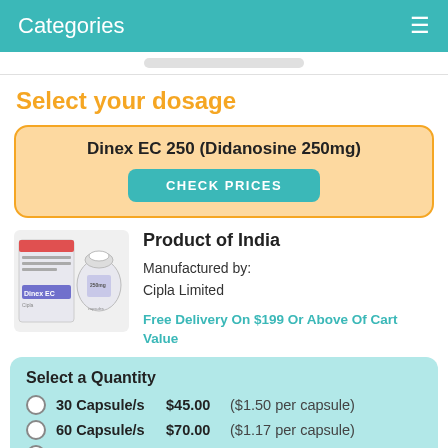Categories
Select your dosage
Dinex EC 250 (Didanosine 250mg)
CHECK PRICES
[Figure (photo): Product image of Dinex EC capsules bottle with packaging box]
Product of India
Manufactured by:
Cipla Limited
Free Delivery On $199 Or Above Of Cart Value
Select a Quantity
30 Capsule/s  $45.00  ($1.50 per capsule)
60 Capsule/s  $70.00  ($1.17 per capsule)
90 Capsule/s  $97.50  ($1.08 per capsule)